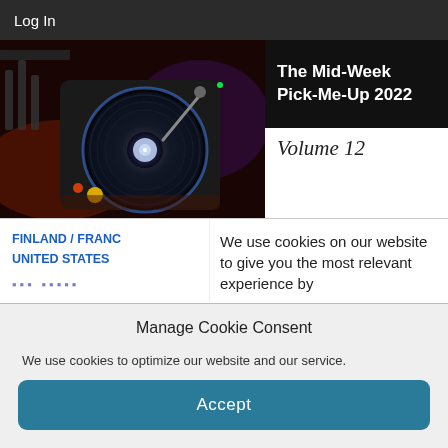Log In
[Figure (photo): DJ turntable/mixer equipment with colorful lights, close-up]
The Mid-Week Pick-Me-Up 2022
Volume 12
FINLAND / FRANC
UNITED STATES
We use cookies on our website to give you the most relevant experience by
Manage Cookie Consent
We use cookies to optimize our website and our service.
Accept